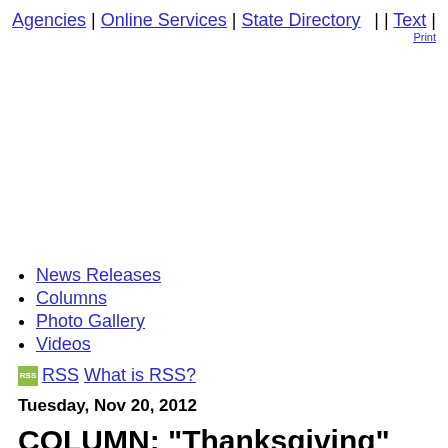Agencies | Online Services | State Directory | | Text | Print
News Releases
Columns
Photo Gallery
Videos
RSS What is RSS?
Tuesday, Nov 20, 2012
COLUMN: "Thanksgiving"